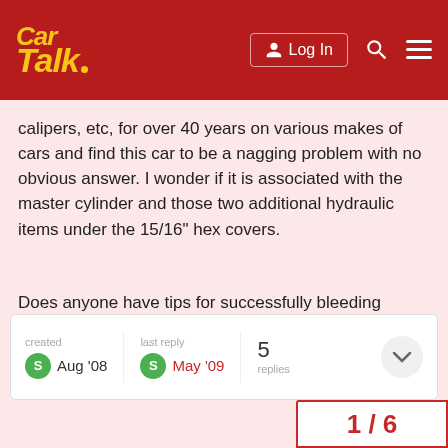Car Talk — Log In
calipers, etc, for over 40 years on various makes of cars and find this car to be a nagging problem with no obvious answer. I wonder if it is associated with the master cylinder and those two additional hydraulic items under the 15/16" hex covers.
Does anyone have tips for successfully bleeding brakes on a Saturn?
created Aug '08  last reply May '09  5 replies